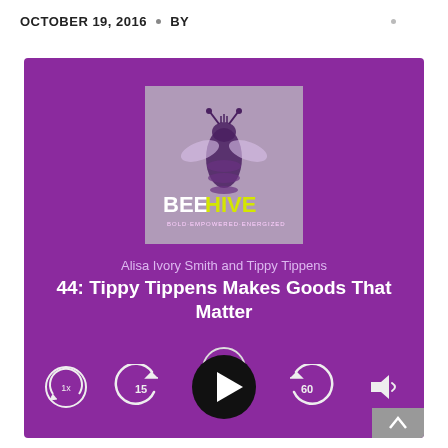OCTOBER 19, 2016 · BY
[Figure (screenshot): Podcast player widget with purple background showing BEEHIVE podcast artwork, episode title '44: Tippy Tippens Makes Goods That Matter' by Alisa Ivory Smith and Tippy Tippens, with playback controls including speed (1x), back 15s, play, forward 60s, and volume buttons.]